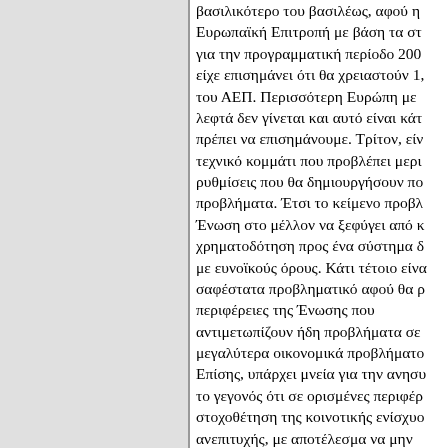βασιλικότερο του βασιλέως, αφού η Ευρωπαϊκή Επιτροπή με βάση τα στ για την προγραμματική περίοδο 200 είχε επισημάνει ότι θα χρειαστούν 1, του ΑΕΠ. Περισσότερη Ευρώπη με λεφτά δεν γίνεται και αυτό είναι κάτ πρέπει να επισημάνουμε. Τρίτον, είν τεχνικό κομμάτι που προβλέπει μερι ρυθμίσεις που θα δημιουργήσουν πο προβλήματα. Έτσι το κείμενο προβλ Ένωση στο μέλλον να ξεφύγει από κ χρηματοδότηση προς ένα σύστημα δ με ευνοϊκούς όρους. Κάτι τέτοιο είνα σαφέστατα προβληματικό αφού θα ρ περιφέρειες της Ένωσης που αντιμετωπίζουν ήδη προβλήματα σε μεγαλύτερα οικονομικά προβλήματο Επίσης, υπάρχει μνεία για την ανησ το γεγονός ότι σε ορισμένες περιφέρ στοχοθέτηση της κοινοτικής ενίσχυο ανεπιτυχής, με αποτέλεσμα να μην επιτυγχάνεται βελτίωση της κατάστα στις εν λόγω περιφέρειες παρά τη μακροχρόνια χρηματοδοτική υποστή αποτέλεσμα τη σπατάλη των κοινοτ